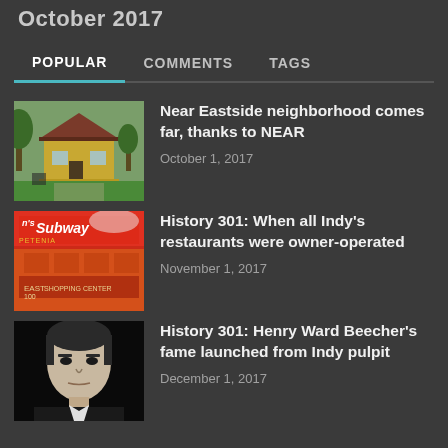October 2017
POPULAR   COMMENTS   TAGS
[Figure (photo): Yellow house with green lawn and trees, Near Eastside neighborhood]
Near Eastside neighborhood comes far, thanks to NEAR
October 1, 2017
[Figure (photo): Vintage red sign reading n's Subway PETENIA with storefronts]
History 301: When all Indy's restaurants were owner-operated
November 1, 2017
[Figure (photo): Black and white portrait photo of Henry Ward Beecher]
History 301: Henry Ward Beecher's fame launched from Indy pulpit
December 1, 2017